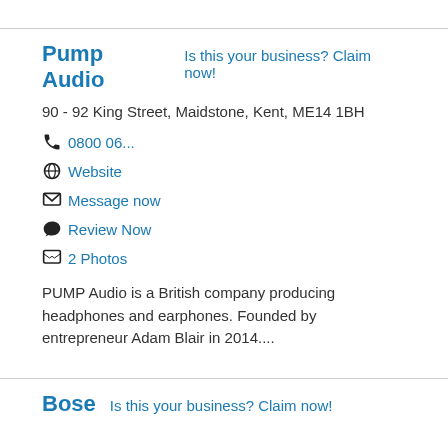Pump Audio   Is this your business? Claim now!
90 - 92 King Street, Maidstone, Kent, ME14 1BH
0800 06...
Website
Message now
Review Now
2 Photos
PUMP Audio is a British company producing headphones and earphones. Founded by entrepreneur Adam Blair in 2014....
Bose   Is this your business? Claim now!